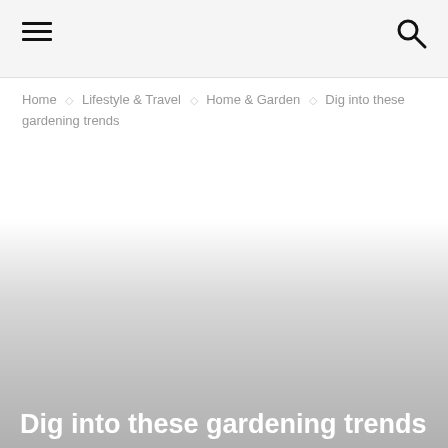☰  🔍
Home ◇ Lifestyle & Travel ◇ Home & Garden ◇ Dig into these gardening trends
[Figure (photo): Hero image area with a gradient from white to grey, representing a gardening-themed photo background]
Dig into these gardening trends